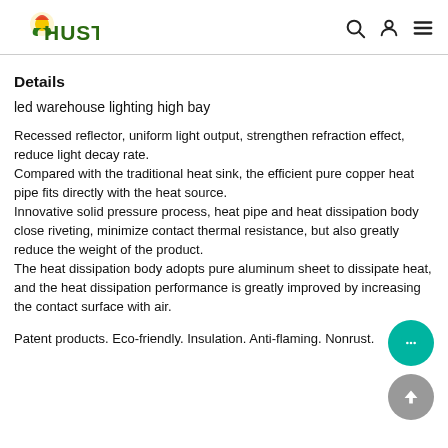HUSTA [logo]
Details
led warehouse lighting high bay
Recessed reflector, uniform light output, strengthen refraction effect, reduce light decay rate.
Compared with the traditional heat sink, the efficient pure copper heat pipe fits directly with the heat source.
Innovative solid pressure process, heat pipe and heat dissipation body close riveting, minimize contact thermal resistance, but also greatly reduce the weight of the product.
The heat dissipation body adopts pure aluminum sheet to dissipate heat, and the heat dissipation performance is greatly improved by increasing the contact surface with air.
Patent products. Eco-friendly. Insulation. Anti-flaming. Nonrust.